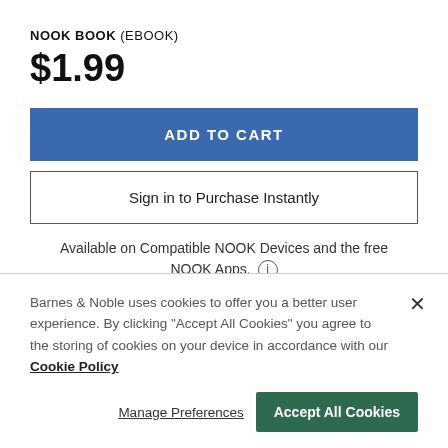NOOK BOOK (EBOOK)
$1.99
ADD TO CART
Sign in to Purchase Instantly
Available on Compatible NOOK Devices and the free NOOK Apps.
Barnes & Noble uses cookies to offer you a better user experience. By clicking "Accept All Cookies" you agree to the storing of cookies on your device in accordance with our Cookie Policy
Manage Preferences
Accept All Cookies